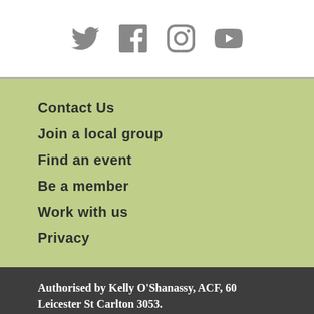[Figure (other): Social media icons: Twitter, Facebook, Instagram, YouTube]
Contact Us
Join a local group
Find an event
Be a member
Work with us
Privacy
Authorised by Kelly O'Shanassy, ACF, 60 Leicester St Carlton 3053.
We acknowledge the Traditional Owners of Country and their continuing connection to land, waters and community. We pay respect to their Elders past and present and to the pivotal role that First Nations Peoples